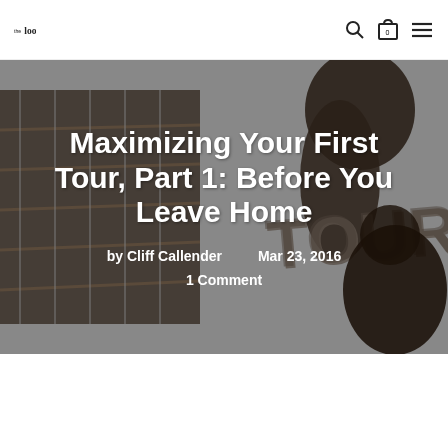the loop loft
[Figure (screenshot): Hero banner image showing a close-up of a guitar headstock/neck in dark tones on a grey background, with overlaid text for the article title, author, date, and comment count]
Maximizing Your First Tour, Part 1: Before You Leave Home
by Cliff Callender   Mar 23, 2016
1 Comment